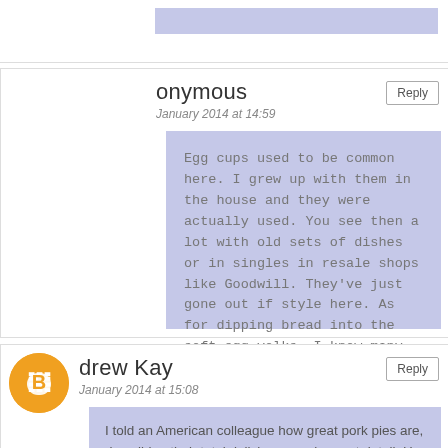[Figure (other): Partial top comment block with blue bar visible at top of page]
onymous
January 2014 at 14:59
Egg cups used to be common here. I grew up with them in the house and they were actually used. You see then a lot with old sets of dishes or in singles in resale shops like Goodwill. They've just gone out if style here. As for dipping bread into the soft egg yolks, I know many who dip their bread into the yolks of over-easy or poached eggs. I know I do.
[Figure (other): Orange circular blogger avatar icon with B logo]
drew Kay
January 2014 at 15:08
I told an American colleague how great pork pies are, describing their total deliciousness in great detail. He looked it up on wikipedia and found this description: "It consists of roughly